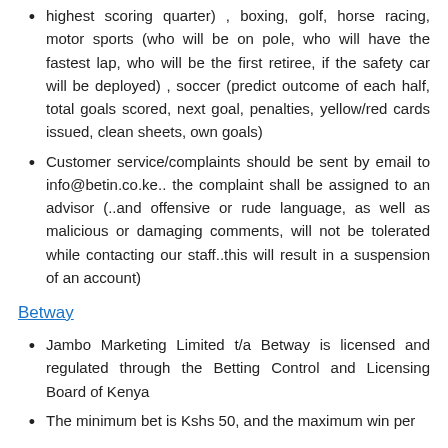highest scoring quarter) , boxing, golf, horse racing, motor sports (who will be on pole, who will have the fastest lap, who will be the first retiree, if the safety car will be deployed) , soccer (predict outcome of each half, total goals scored, next goal, penalties, yellow/red cards issued, clean sheets, own goals)
Customer service/complaints should be sent by email to info@betin.co.ke.. the complaint shall be assigned to an advisor (..and offensive or rude language, as well as malicious or damaging comments, will not be tolerated while contacting our staff..this will result in a suspension of an account)
Betway
Jambo Marketing Limited t/a Betway is licensed and regulated through the Betting Control and Licensing Board of Kenya
The minimum bet is Kshs 50, and the maximum win per